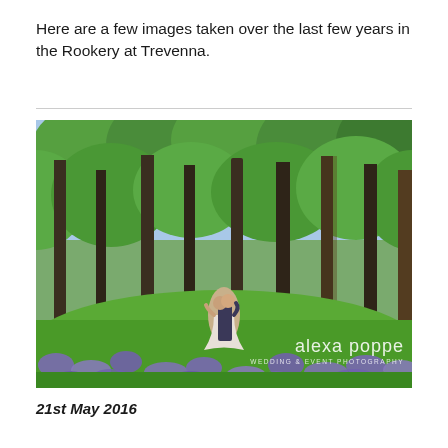Here are a few images taken over the last few years in the Rookery at Trevenna.
[Figure (photo): Wedding photo of a couple kissing in a woodland setting with tall trees and bluebells on the ground. Watermark reads 'alexa poppe WEDDING & EVENT PHOTOGRAPHY' in bottom right corner.]
21st May 2016